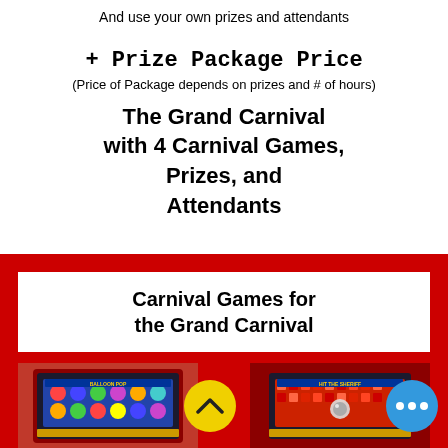And use your own prizes and attendants
+ Prize Package Price
(Price of Package depends on prizes and # of hours)
The Grand Carnival with 4 Carnival Games, Prizes, and Attendants
Carnival Games for the Grand Carnival
[Figure (photo): Two carnival arcade game machines (Balloon Pop and Hit the Sheriff) shown at the bottom of the page inside a red box]